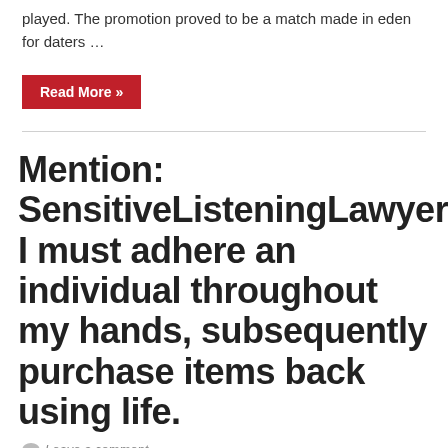played. The promotion proved to be a match made in eden for daters …
Read More »
Mention: SensitiveListeningLawyer42Quote: I must adhere an individual throughout my hands, subsequently purchase items back using life.
Leave a comment
Mention: SensitiveListeningLawyer42Quote: I must adhere an individual throughout my hands,